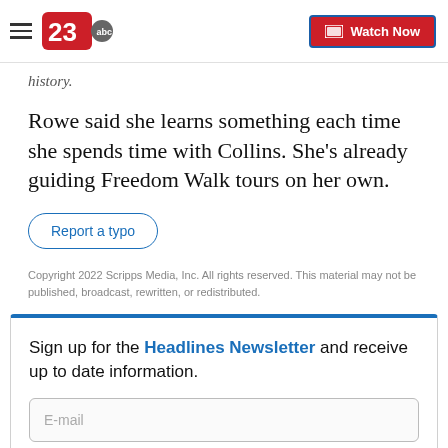23 abc | Watch Now
history.
Rowe said she learns something each time she spends time with Collins. She's already guiding Freedom Walk tours on her own.
Report a typo
Copyright 2022 Scripps Media, Inc. All rights reserved. This material may not be published, broadcast, rewritten, or redistributed.
Sign up for the Headlines Newsletter and receive up to date information.
E-mail